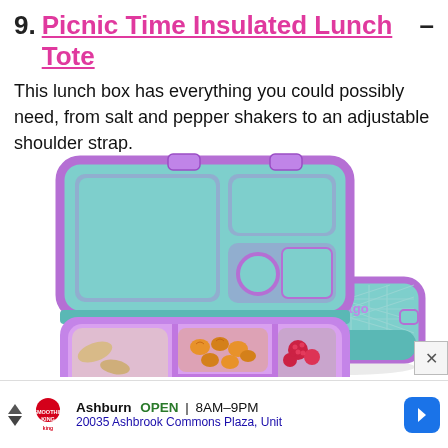9. Picnic Time Insulated Lunch Tote –
This lunch box has everything you could possibly need, from salt and pepper shakers to an adjustable shoulder strap.
[Figure (photo): A teal and purple bento-style lunch box open to show compartments (pasta, crackers, fruit, dip, walnut, raspberry), with a closed matching container beside it branded 'bentgo'.]
Ashburn  OPEN  8AM–9PM  20035 Ashbrook Commons Plaza, Unit